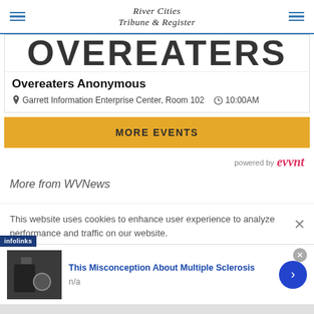River Cities Tribune & Register
[Figure (screenshot): Cropped image showing top portion of OVEREATERS text in large bold letters]
Overeaters Anonymous
Garrett Information Enterprise Center, Room 102  10:00AM
MORE EVENTS
powered by evvnt
More from WVNews
This website uses cookies to enhance user experience to analyze performance and traffic on our website.
This Misconception About Multiple Sclerosis
n/a